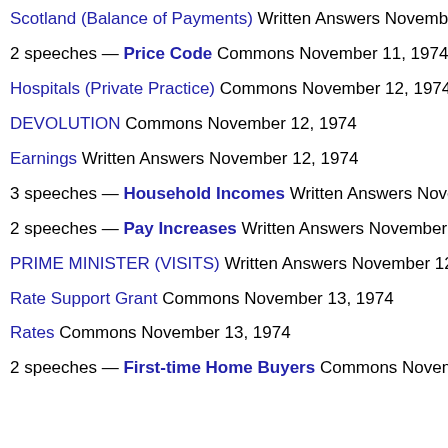Scotland (Balance of Payments) Written Answers November 7
2 speeches — Price Code Commons November 11, 1974
Hospitals (Private Practice) Commons November 12, 1974
DEVOLUTION Commons November 12, 1974
Earnings Written Answers November 12, 1974
3 speeches — Household Incomes Written Answers Novemb
2 speeches — Pay Increases Written Answers November 12,
PRIME MINISTER (VISITS) Written Answers November 12, 19
Rate Support Grant Commons November 13, 1974
Rates Commons November 13, 1974
2 speeches — First-time Home Buyers Commons November